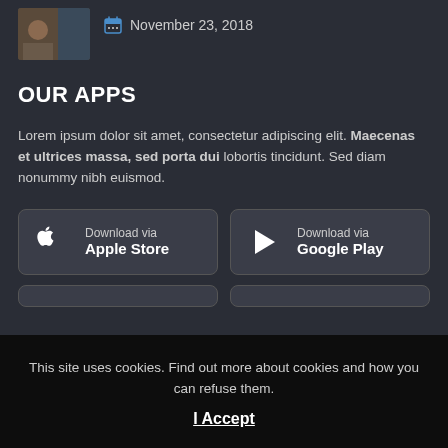[Figure (photo): Small thumbnail image showing people]
November 23, 2018
OUR APPS
Lorem ipsum dolor sit amet, consectetur adipiscing elit. Maecenas et ultrices massa, sed porta dui lobortis tincidunt. Sed diam nonummy nibh euismod.
[Figure (other): Download via Apple Store button]
[Figure (other): Download via Google Play button]
This site uses cookies. Find out more about cookies and how you can refuse them.
I Accept